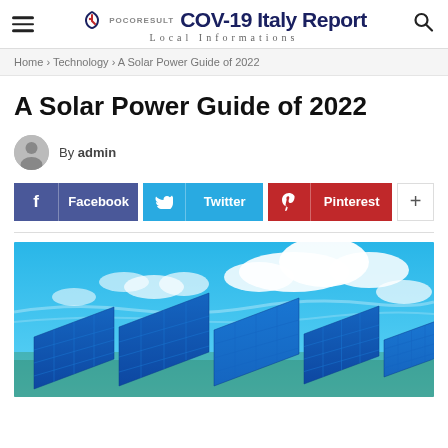COV-19 Italy Report — Local Informations
Home › Technology › A Solar Power Guide of 2022
A Solar Power Guide of 2022
By admin
[Figure (infographic): Social share buttons: Facebook (blue-purple), Twitter (cyan), Pinterest (red), and a plus (+) button]
[Figure (photo): Solar panels in foreground against a bright blue sky with white clouds]